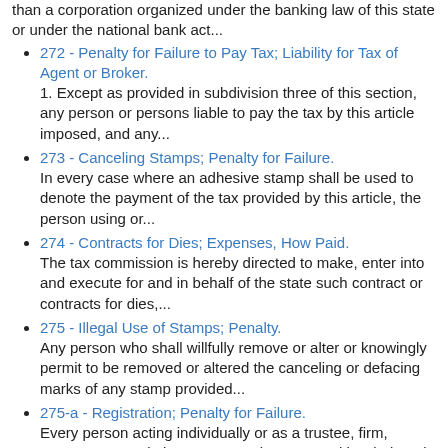than a corporation organized under the banking law of this state or under the national bank act...
272 - Penalty for Failure to Pay Tax; Liability for Tax of Agent or Broker.
1. Except as provided in subdivision three of this section, any person or persons liable to pay the tax by this article imposed, and any...
273 - Canceling Stamps; Penalty for Failure.
In every case where an adhesive stamp shall be used to denote the payment of the tax provided by this article, the person using or...
274 - Contracts for Dies; Expenses, How Paid.
The tax commission is hereby directed to make, enter into and execute for and in behalf of the state such contract or contracts for dies,...
275 - Illegal Use of Stamps; Penalty.
Any person who shall willfully remove or alter or knowingly permit to be removed or altered the canceling or defacing marks of any stamp provided...
275-a - Registration; Penalty for Failure.
Every person acting individually or as a trustee, firm, company, association or corporation engaged in whole or in part in the making or negotiating of...